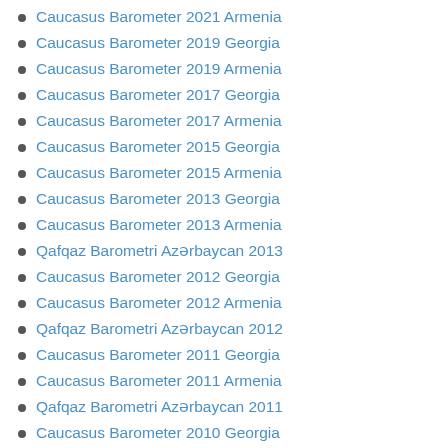Caucasus Barometer 2021 Armenia
Caucasus Barometer 2019 Georgia
Caucasus Barometer 2019 Armenia
Caucasus Barometer 2017 Georgia
Caucasus Barometer 2017 Armenia
Caucasus Barometer 2015 Georgia
Caucasus Barometer 2015 Armenia
Caucasus Barometer 2013 Georgia
Caucasus Barometer 2013 Armenia
Qafqaz Barometri Azərbaycan 2013
Caucasus Barometer 2012 Georgia
Caucasus Barometer 2012 Armenia
Qafqaz Barometri Azərbaycan 2012
Caucasus Barometer 2011 Georgia
Caucasus Barometer 2011 Armenia
Qafqaz Barometri Azərbaycan 2011
Caucasus Barometer 2010 Georgia
Caucasus Barometer 2010 Armenia
Qafqaz Barometri Azərbaycan 2010
Knowledge of and attitudes toward the EU in Georgia, 2021
Caucasus Barometer 2009 Georgia
Caucasus Barometer 2009 Armenia